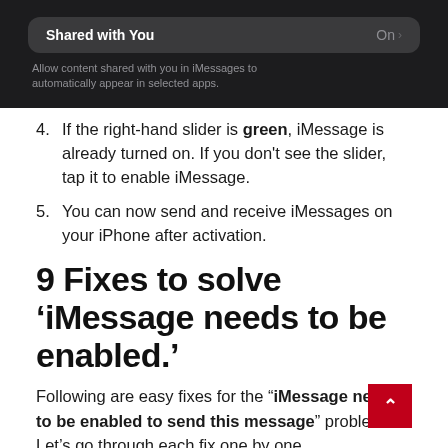[Figure (screenshot): iOS settings screenshot showing 'Shared with You' toggle set to On, with subtitle 'Allow content shared with you in iMessages to automatically appear in selected apps.']
4. If the right-hand slider is green, iMessage is already turned on. If you don't see the slider, tap it to enable iMessage.
5. You can now send and receive iMessages on your iPhone after activation.
9 Fixes to solve ‘iMessage needs to be enabled.’
Following are easy fixes for the “iMessage needs to be enabled to send this message” problem. Let’s go through each fix one by one.